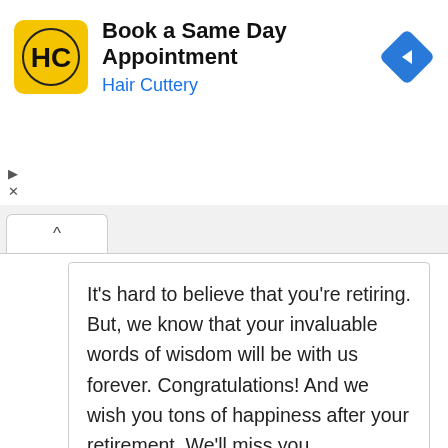[Figure (other): Hair Cuttery advertisement banner with logo and arrow icon. Text: Book a Same Day Appointment / Hair Cuttery]
It’s hard to believe that you’re retiring. But, we know that your invaluable words of wisdom will be with us forever. Congratulations! And we wish you tons of happiness after your retirement. We’ll miss you.
Also Read: Thank You Messages For Boss
Religious Retirement Wishes for